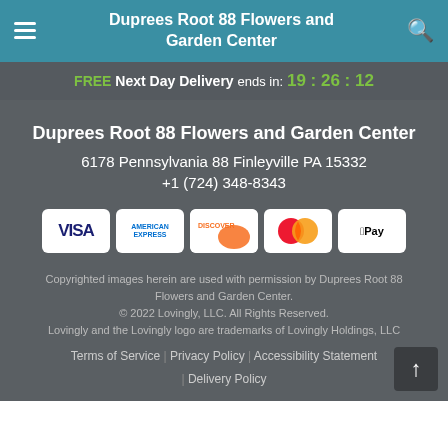Duprees Root 88 Flowers and Garden Center
FREE Next Day Delivery ends in: 19:26:12
Duprees Root 88 Flowers and Garden Center
6178 Pennsylvania 88 Finleyville PA 15332
+1 (724) 348-8343
[Figure (other): Payment method icons: Visa, American Express, Discover, Mastercard, Apple Pay]
Copyrighted images herein are used with permission by Duprees Root 88 Flowers and Garden Center. © 2022 Lovingly, LLC. All Rights Reserved. Lovingly and the Lovingly logo are trademarks of Lovingly Holdings, LLC
Terms of Service | Privacy Policy | Accessibility Statement | Delivery Policy